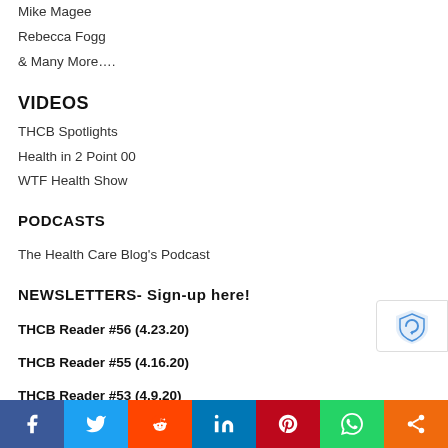Mike Magee
Rebecca Fogg
& Many More….
VIDEOS
THCB Spotlights
Health in 2 Point 00
WTF Health Show
PODCASTS
The Health Care Blog's Podcast
NEWSLETTERS- Sign-up here!
THCB Reader #56 (4.23.20)
THCB Reader #55 (4.16.20)
THCB Reader #53 (4.9.20)